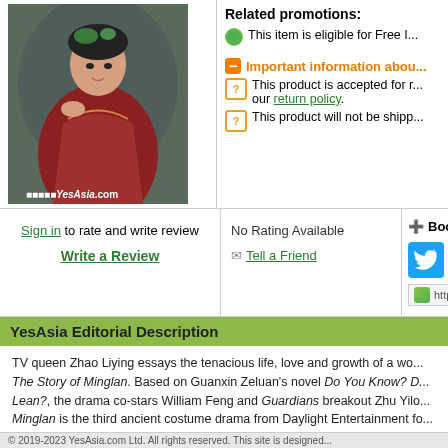[Figure (photo): Product image of a Chinese drama DVD/Blu-ray with a YesAsia.com watermark, showing a woman in red ancient costume]
Related promotions:
This item is eligible for Free I...
Important information abou...
This product is accepted for r... our return policy.
This product will not be shipp...
Sign in to rate and write review
Write a Review
No Rating Available
Tell a Friend
+ Book...
http...
YesAsia Editorial Description
TV queen Zhao Liying essays the tenacious life, love and growth of a wo... The Story of Minglan. Based on Guanxin Zeluan's novel Do You Know? D... Lean?, the drama co-stars William Feng and Guardians breakout Zhu Yilo... Minglan is the third ancient costume drama from Daylight Entertainment fo...
Minglan (Zhao Liying) is the unfavored sixth daughter of the Sheng family... constantly mistreated by her stepmother and sisters and overlooked by he... conceal her true talents and thoughts and to trust no one. She endures al... avenging her mother's death. In this journey, she meets the brash but kin... military and literary prowess, has a notorious reputation for being a gracel...
© 2019-2023 YesAsia.com Ltd. All rights reserved. This site is designed...